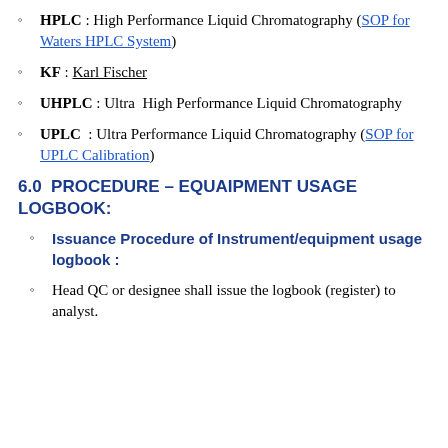HPLC : High Performance Liquid Chromatography (SOP for Waters HPLC System)
KF : Karl Fischer
UHPLC : Ultra  High Performance Liquid Chromatography
UPLC  : Ultra Performance Liquid Chromatography (SOP for UPLC Calibration)
6.0  PROCEDURE – EQUAIPMENT USAGE LOGBOOK:
Issuance Procedure of Instrument/equipment usage logbook :
Head QC or designee shall issue the logbook (register) to analyst.